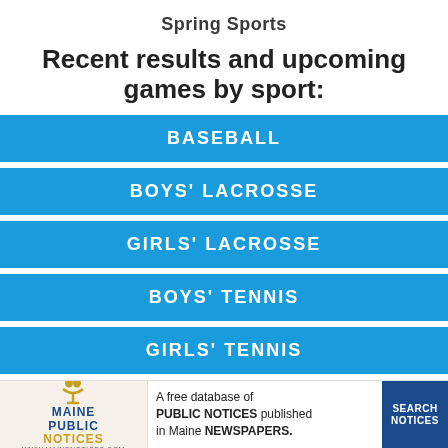Spring Sports
Recent results and upcoming games by sport:
BASEBALL
BOYS' LACROSSE
GIRLS' LACROSSE
BOYS' TENNIS
GIRLS' TENNIS
SOFTBALL
BOYS' OUTDOOR TRACK
[Figure (infographic): Maine Public Notices advertisement: A free database of PUBLIC NOTICES published in Maine NEWSPAPERS. Search Notices button.]